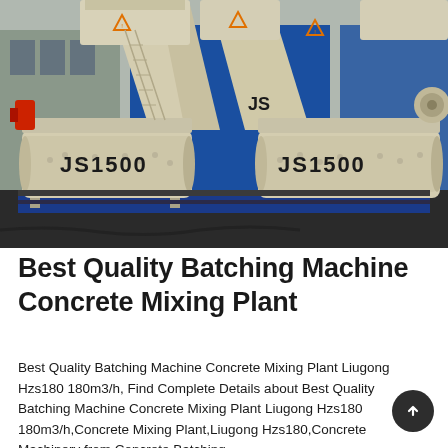[Figure (photo): Photograph of two JS1500 concrete mixing plant machines side by side, mounted on a blue steel frame platform. Machines are cream/beige colored with large cylindrical mixing drums labeled 'JS1500', hopper conveyors angled upward, and various mechanical components. Background shows a building and blue sky.]
Best Quality Batching Machine Concrete Mixing Plant
Best Quality Batching Machine Concrete Mixing Plant Liugong Hzs180 180m3/h, Find Complete Details about Best Quality Batching Machine Concrete Mixing Plant Liugong Hzs180 180m3/h,Concrete Mixing Plant,Liugong Hzs180,Concrete Machinery from Concrete Batching